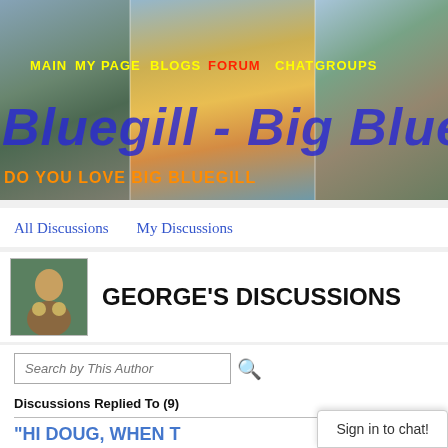[Figure (screenshot): Website banner header with navigation menu showing MAIN, MY PAGE, BLOGS, FORUM, CHAT, GROUPS links. Large blue italic title 'Bluegill - Big Blue' overlaid on fishing photos. Orange subtitle 'DO YOU LOVE BIG BLUEGILL']
All Discussions    My Discussions
GEORGE'S DISCUSSIONS
Search by This Author
Discussions Replied To (9)
"HI DOUG, WHEN T
Sign in to chat!